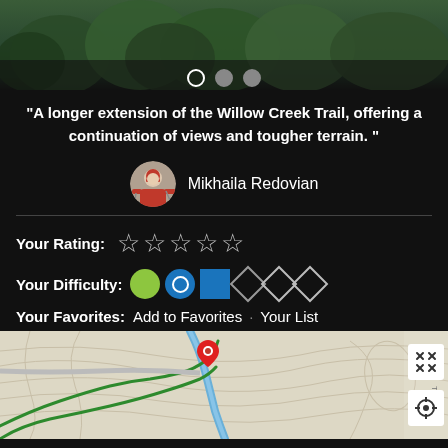[Figure (screenshot): Mobile app screenshot showing forest/trail image at top with pagination dots (open circle, filled circle, filled circle)]
“A longer extension of the Willow Creek Trail, offering a continuation of views and tougher terrain. ”
Mikhaila Redovian
Your Rating: (5 empty stars)
Your Difficulty: (difficulty icons: green circle, blue circle, blue square, black diamond, outline diamond, outline diamond)
Your Favorites: Add to Favorites · Your List
[Figure (map): Map showing trail location with red pin marker, green trail lines, blue river, and topographic contour lines]